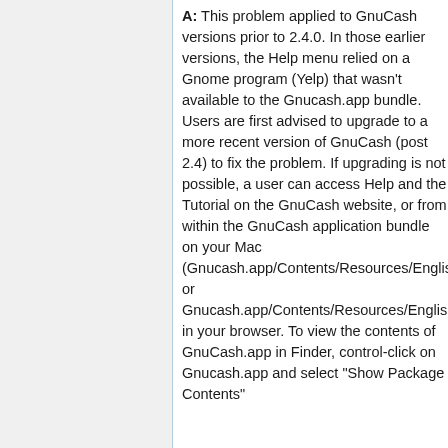A: This problem applied to GnuCash versions prior to 2.4.0. In those earlier versions, the Help menu relied on a Gnome program (Yelp) that wasn't available to the Gnucash.app bundle. Users are first advised to upgrade to a more recent version of GnuCash (post 2.4) to fix the problem. If upgrading is not possible, a user can access Help and the Tutorial on the GnuCash website, or from within the GnuCash application bundle on your Mac (Gnucash.app/Contents/Resources/English/Help/help.html or Gnucash.app/Contents/Resources/English/Guide/index.html) in your browser. To view the contents of GnuCash.app in Finder, control-click on Gnucash.app and select "Show Package Contents"